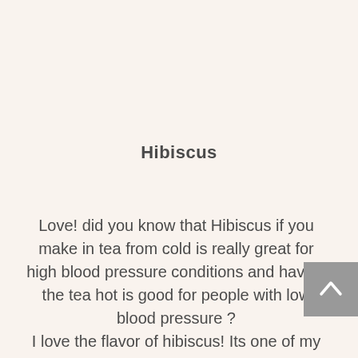Hibiscus
Love! did you know that Hibiscus if you make in tea from cold is really great for high blood pressure conditions and having the tea hot is good for people with low blood pressure ? I love the flavor of hibiscus! Its one of my the best! These dont look great as a decirative fl...